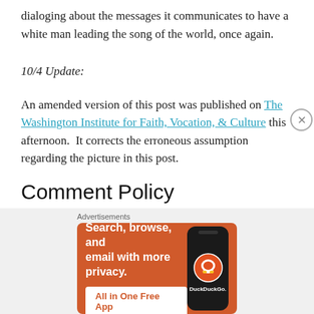dialoging about the messages it communicates to have a white man leading the song of the world, once again.
10/4 Update:
An amended version of this post was published on The Washington Institute for Faith, Vocation, & Culture this afternoon.  It corrects the erroneous assumption regarding the picture in this post.
Comment Policy
[Figure (screenshot): DuckDuckGo advertisement banner with orange background. Text reads 'Search, browse, and email with more privacy. All in One Free App'. Shows a phone with DuckDuckGo logo. Labeled 'Advertisements' above.]